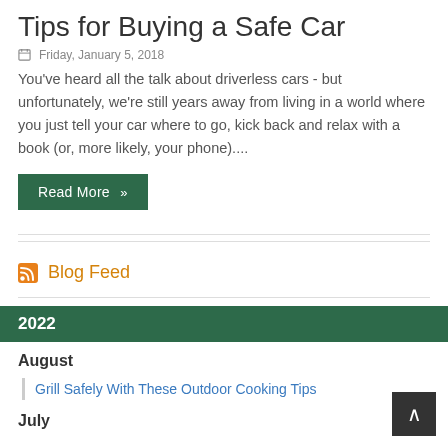Tips for Buying a Safe Car
Friday, January 5, 2018
You’ve heard all the talk about driverless cars - but unfortunately, we’re still years away from living in a world where you just tell your car where to go, kick back and relax with a book (or, more likely, your phone)....
Read More »
Blog Feed
2022
August
Grill Safely With These Outdoor Cooking Tips
July